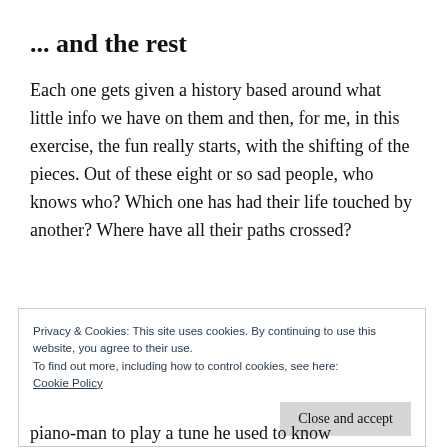... and the rest
Each one gets given a history based around what little info we have on them and then, for me, in this exercise, the fun really starts, with the shifting of the pieces. Out of these eight or so sad people, who knows who? Which one has had their life touched by another? Where have all their paths crossed?
Privacy & Cookies: This site uses cookies. By continuing to use this website, you agree to their use.
To find out more, including how to control cookies, see here:
Cookie Policy
[Close and accept]
piano-man to play a tune he used to know